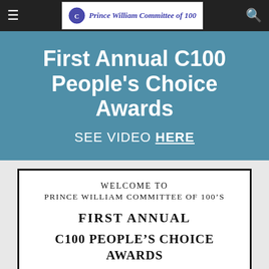Prince William Committee of 100
First Annual C100 People's Choice Awards
SEE VIDEO HERE
[Figure (other): Framed document with text: WELCOME TO PRINCE WILLIAM COMMITTEE OF 100'S FIRST ANNUAL C100 PEOPLE'S CHOICE AWARDS]